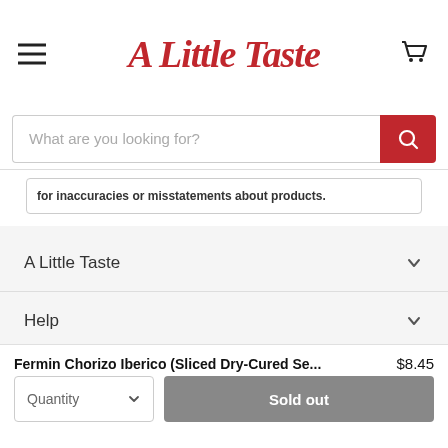A Little Taste
What are you looking for?
for inaccuracies or misstatements about products.
A Little Taste
Help
Quick Links
Fermin Chorizo Iberico (Sliced Dry-Cured Se... $8.45
Quantity
Sold out